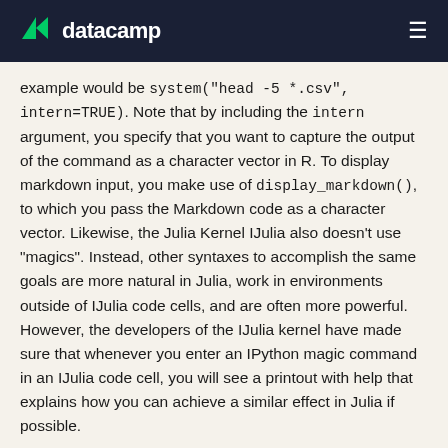datacamp
example would be system("head -5 *.csv", intern=TRUE). Note that by including the intern argument, you specify that you want to capture the output of the command as a character vector in R. To display markdown input, you make use of display_markdown(), to which you pass the Markdown code as a character vector. Likewise, the Julia Kernel IJulia also doesn’t use “magics”. Instead, other syntaxes to accomplish the same goals are more natural in Julia, work in environments outside of IJulia code cells, and are often more powerful. However, the developers of the IJulia kernel have made sure that whenever you enter an IPython magic command in an IJulia code cell, you will see a printout with help that explains how you can achieve a similar effect in Julia if possible.